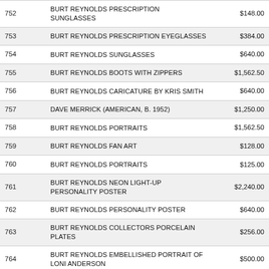| Lot | Description | Price |
| --- | --- | --- |
| 752 | BURT REYNOLDS PRESCRIPTION SUNGLASSES | $148.00 |
| 753 | BURT REYNOLDS PRESCRIPTION EYEGLASSES | $384.00 |
| 754 | BURT REYNOLDS SUNGLASSES | $640.00 |
| 755 | BURT REYNOLDS BOOTS WITH ZIPPERS | $1,562.50 |
| 756 | BURT REYNOLDS CARICATURE BY KRIS SMITH | $640.00 |
| 757 | DAVE MERRICK (AMERICAN, B. 1952) | $1,250.00 |
| 758 | BURT REYNOLDS PORTRAITS | $1,562.50 |
| 759 | BURT REYNOLDS FAN ART | $128.00 |
| 760 | BURT REYNOLDS PORTRAITS | $125.00 |
| 761 | BURT REYNOLDS NEON LIGHT-UP PERSONALITY POSTER | $2,240.00 |
| 762 | BURT REYNOLDS PERSONALITY POSTER | $640.00 |
| 763 | BURT REYNOLDS COLLECTORS PORCELAIN PLATES | $256.00 |
| 764 | BURT REYNOLDS EMBELLISHED PORTRAIT OF LONI ANDERSON | $500.00 |
| 765 | BURT REYNOLDS TRIPLE PORTRAIT OF LONI ANDERSON | $1,000.00 |
| 766 | BURT REYNOLDS FILM HALF POSTER | $100.00 |